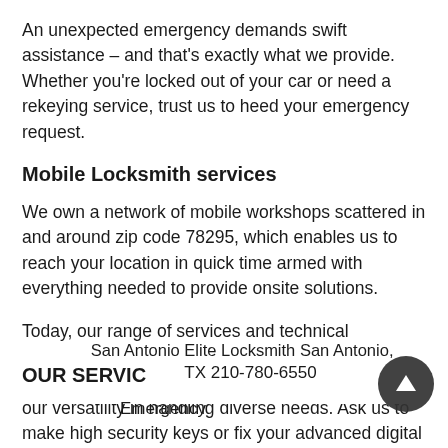An unexpected emergency demands swift assistance – and that's exactly what we provide. Whether you're locked out of your car or need a rekeying service, trust us to heed your emergency request.
Mobile Locksmith services
We own a network of mobile workshops scattered in and around zip code 78295, which enables us to reach your location in quick time armed with everything needed to provide onsite solutions.
Today, our range of services and technical excellence has enabled us to grow into a best-in-class locksmithing company and it's all thanks to our versatility in handling diverse needs. Ask us to make high security keys or fix your advanced digital lock, and you'll find us taking every challenge in our
San Antonio Elite Locksmith San Antonio,
OUR SERVIC
TX 210-780-6550
Emergency